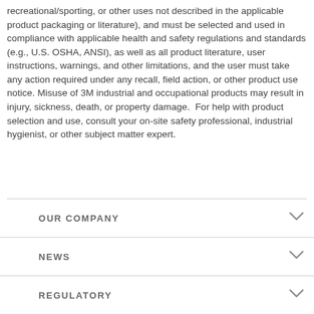recreational/sporting, or other uses not described in the applicable product packaging or literature), and must be selected and used in compliance with applicable health and safety regulations and standards (e.g., U.S. OSHA, ANSI), as well as all product literature, user instructions, warnings, and other limitations, and the user must take any action required under any recall, field action, or other product use notice. Misuse of 3M industrial and occupational products may result in injury, sickness, death, or property damage.  For help with product selection and use, consult your on-site safety professional, industrial hygienist, or other subject matter expert.
OUR COMPANY
NEWS
REGULATORY